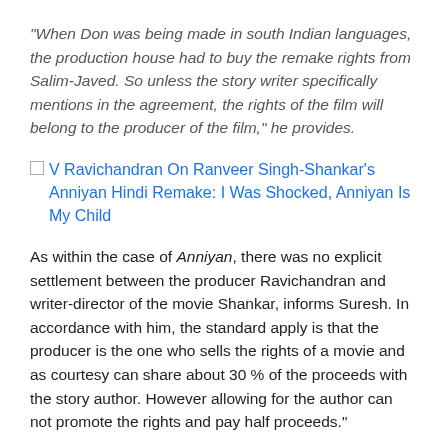“When Don was being made in south Indian languages, the production house had to buy the remake rights from Salim-Javed. So unless the story writer specifically mentions in the agreement, the rights of the film will belong to the producer of the film,” he provides.
V Ravichandran On Ranveer Singh-Shankar’s Anniyan Hindi Remake: I Was Shocked, Anniyan Is My Child
As within the case of Anniyan, there was no explicit settlement between the producer Ravichandran and writer-director of the movie Shankar, informs Suresh. In accordance with him, the standard apply is that the producer is the one who sells the rights of a movie and as courtesy can share about 30 % of the proceeds with the story author. However allowing for the author can not promote the rights and pay half proceeds.”